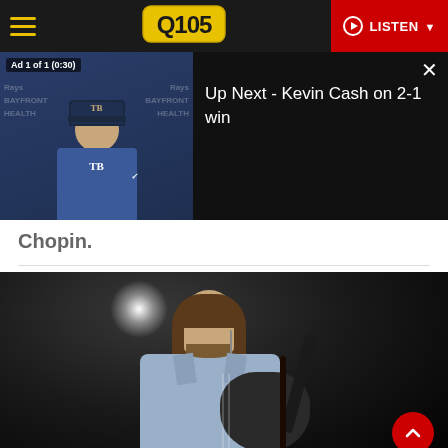Q105 - LISTEN
[Figure (screenshot): Video player overlay showing a Tampa Bay Rays coach/manager press conference thumbnail on the left with 'Ad 1 of 1 (0:30)' label, and 'Up Next - Kevin Cash on 2-1 win' text on the right with a close (X) button]
Chopin.
[Figure (photo): A male guitarist with long brown hair and beard wearing a denim jacket performing on stage with a guitar, spotlight visible in the dark background]